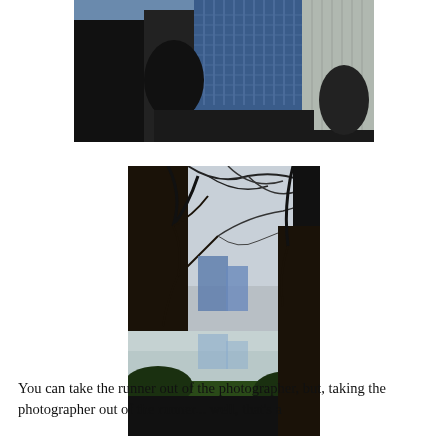[Figure (photo): Urban street scene with tall glass skyscrapers viewed from below, trees lining street, dark shadows in foreground]
[Figure (photo): Nature scene with bare trees in foreground, calm lake or river reflecting light, city buildings visible in background through trees]
You can take the runner out of the photographer, but, taking the photographer out of the runner... well, that's a